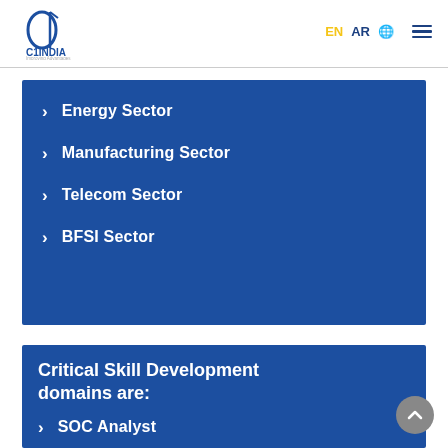C1INDIA – Improving Advantages | EN  AR  🌐  ☰
Energy Sector
Manufacturing Sector
Telecom Sector
BFSI Sector
Critical Skill Development domains are:
SOC Analyst